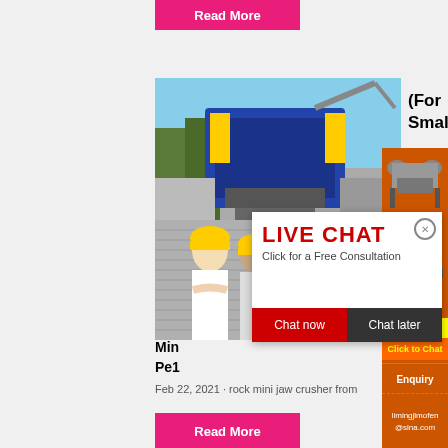[Figure (photo): Pink/magenta Read More button at top]
[Figure (photo): Industrial mining machine (blue) on construction site with sky background]
(For Small
[Figure (photo): Orange sidebar with crusher machinery images]
[Figure (photo): Workers in yellow hard hats with live chat overlay popup]
Min
Pe1
Feb 22, 2021 · rock mini jaw crusher from
[Figure (infographic): Enjoy 3% discount / Click to Chat banner]
Enquiry
limingjlmofen@sina.com
[Figure (screenshot): Pink/magenta Read More button at bottom]